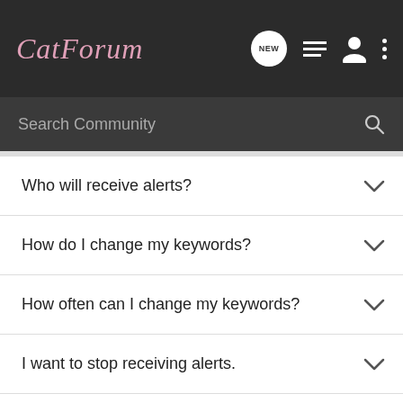CatForum
Search Community
Who will receive alerts?
How do I change my keywords?
How often can I change my keywords?
I want to stop receiving alerts.
I have setup my alerts but I'm not receiving my alerts in my email